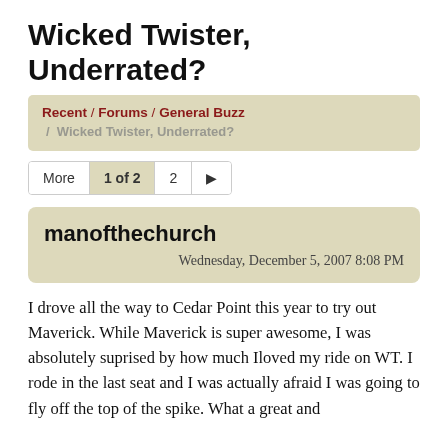Wicked Twister, Underrated?
Recent / Forums / General Buzz / Wicked Twister, Underrated?
More  1 of 2  2  ▶
manofthechurch
Wednesday, December 5, 2007 8:08 PM
I drove all the way to Cedar Point this year to try out Maverick. While Maverick is super awesome, I was absolutely suprised by how much Iloved my ride on WT. I rode in the last seat and I was actually afraid I was going to fly off the top of the spike. What a great and